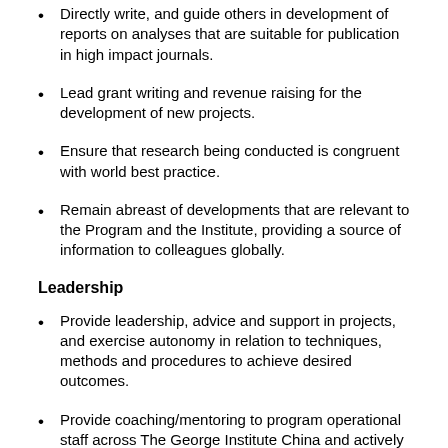Directly write, and guide others in development of reports on analyses that are suitable for publication in high impact journals.
Lead grant writing and revenue raising for the development of new projects.
Ensure that research being conducted is congruent with world best practice.
Remain abreast of developments that are relevant to the Program and the Institute, providing a source of information to colleagues globally.
Leadership
Provide leadership, advice and support in projects, and exercise autonomy in relation to techniques, methods and procedures to achieve desired outcomes.
Provide coaching/mentoring to program operational staff across The George Institute China and actively seek to provide